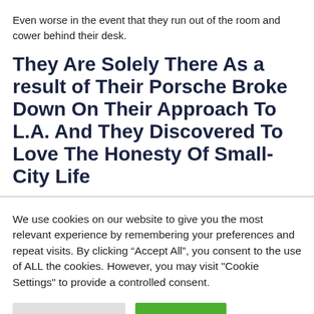Even worse in the event that they run out of the room and cower behind their desk.
They Are Solely There As a result of Their Porsche Broke Down On Their Approach To L.A. And They Discovered To Love The Honesty Of Small-City Life
We use cookies on our website to give you the most relevant experience by remembering your preferences and repeat visits. By clicking “Accept All”, you consent to the use of ALL the cookies. However, you may visit "Cookie Settings" to provide a controlled consent.
Cookie Settings | Accept All